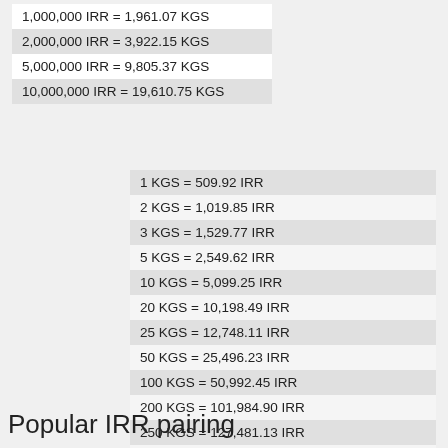| 1,000,000 IRR = 1,961.07 KGS |
| 2,000,000 IRR = 3,922.15 KGS |
| 5,000,000 IRR = 9,805.37 KGS |
| 10,000,000 IRR = 19,610.75 KGS |
| 1 KGS = 509.92 IRR |
| 2 KGS = 1,019.85 IRR |
| 3 KGS = 1,529.77 IRR |
| 5 KGS = 2,549.62 IRR |
| 10 KGS = 5,099.25 IRR |
| 20 KGS = 10,198.49 IRR |
| 25 KGS = 12,748.11 IRR |
| 50 KGS = 25,496.23 IRR |
| 100 KGS = 50,992.45 IRR |
| 200 KGS = 101,984.90 IRR |
| 250 KGS = 127,481.13 IRR |
| 300 KGS = 152,977.36 IRR |
| 500 KGS = 254,962.26 IRR |
| 600 KGS = 305,954.71 IRR |
| 1,000 KGS = 509,924.52 IRR |
Popular IRR pairing